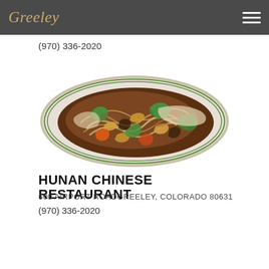Greeley
(970) 336-2020
[Figure (photo): A plate of Chinese stir-fry dish with green peppers, orange peppers, onions, bean sprouts, and chicken in brown sauce on a white plate with green rim.]
HUNAN CHINESE RESTAURANT
600 AIRPORT ROADGREELEY, COLORADO 80631
(970) 336-2020